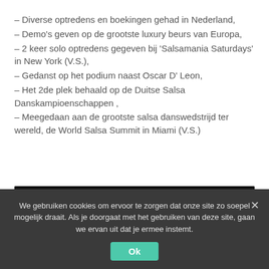– Diverse optredens en boekingen gehad in Nederland,
– Demo's geven op de grootste luxury beurs van Europa,
– 2 keer solo optredens gegeven bij 'Salsamania Saturdays' in New York (V.S.),
– Gedanst op het podium naast Oscar D' Leon,
– Het 2de plek behaald op de Duitse Salsa Danskampioenschappen ,
– Meegedaan aan de grootste salsa danswedstrijd ter wereld, de World Salsa Summit in Miami (V.S.)
[Figure (screenshot): YouTube video thumbnail showing 'Super Salsa Joanna Noah at WSS...' with a snake logo and dark background]
We gebruiken cookies om ervoor te zorgen dat onze site zo soepel mogelijk draait. Als je doorgaat met het gebruiken van deze site, gaan we ervan uit dat je ermee instemt.